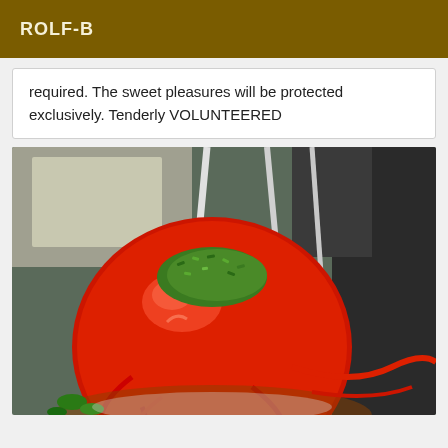ROLF-B
required. The sweet pleasures will be protected exclusively. Tenderly VOLUNTEERED
[Figure (photo): A close-up photo of a red candy apple with green sprinkles on top, with a white stick inserted, and red candy drizzle on the outside. The background shows a kitchen or display area.]